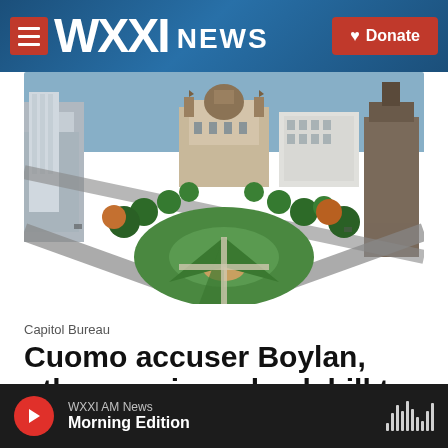WXXI NEWS | Donate
[Figure (photo): Aerial view of Albany New York State Capitol building and surrounding area with streets and greenery]
Capitol Bureau
Cuomo accuser Boylan, other survivors back bill to take alleged abusers to court
WXXI AM News | Morning Edition